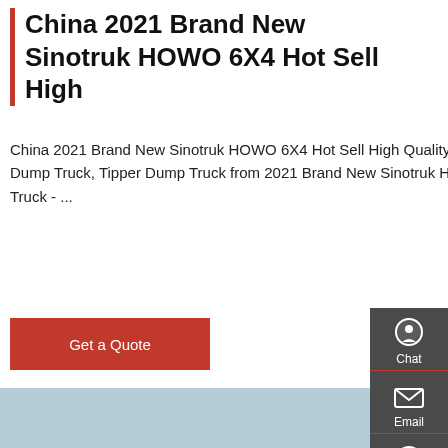China 2021 Brand New Sinotruk HOWO 6X4 Hot Sell High
China 2021 Brand New Sinotruk HOWO 6X4 Hot Sell High Quality Heavy Duty Tipper Dump Truck, Find details about China Dump Truck, Tipper Dump Truck from 2021 Brand New Sinotruk HOWO 6X4 Hot Sell High Quality Heavy Duty Tipper Dump Truck - ...
Get a Quote
[Figure (photo): Photograph of a white Sinotruk HOWO 6X4 heavy duty truck/tractor unit viewed from the rear-side, parked in a lot with other trucks including red and green trucks visible in the background, taken outdoors with a pale sky.]